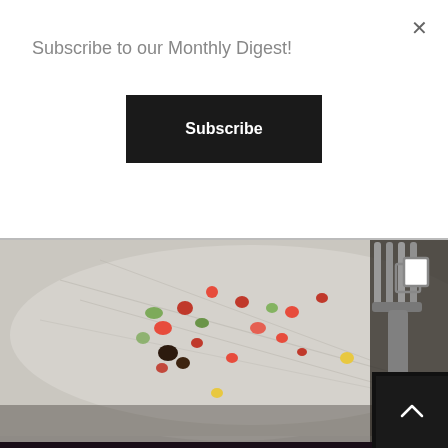Subscribe to our Monthly Digest!
Subscribe
[Figure (photo): Close-up photo of a plate with scattered food remnants including small red and green vegetables, with a fork visible in the upper right corner on a light gray surface]
[Figure (photo): Concert photo of a performer with messy hair singing into a microphone, lit by pink and blue stage lighting against a dark background]